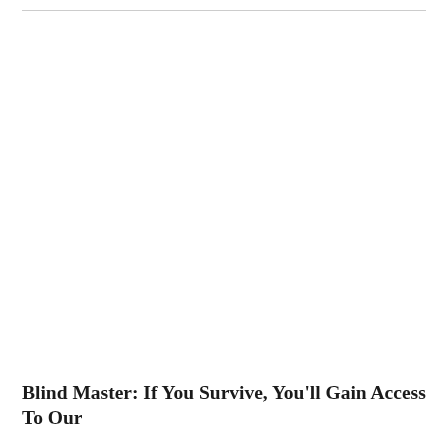Blind Master: If You Survive, You'll Gain Access To Our